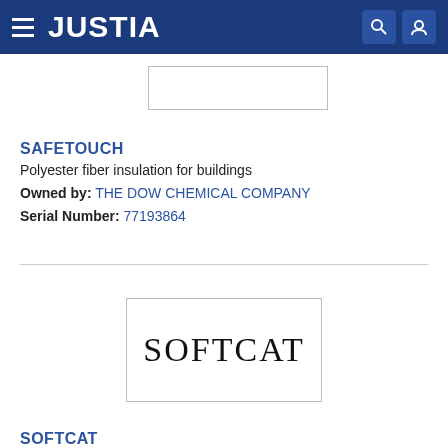JUSTIA
[Figure (other): Trademark image placeholder box (empty rectangle)]
SAFETOUCH
Polyester fiber insulation for buildings
Owned by: THE DOW CHEMICAL COMPANY
Serial Number: 77193864
[Figure (logo): SOFTCAT trademark logo in serif font inside a rectangular border]
SOFTCAT